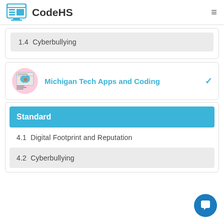CodeHS
1.4  Cyberbullying
[Figure (logo): Michigan Tech Apps and Coding course icon showing Michigan state map with coding elements]
Michigan Tech Apps and Coding
Standard
4.1  Digital Footprint and Reputation
4.2  Cyberbullying